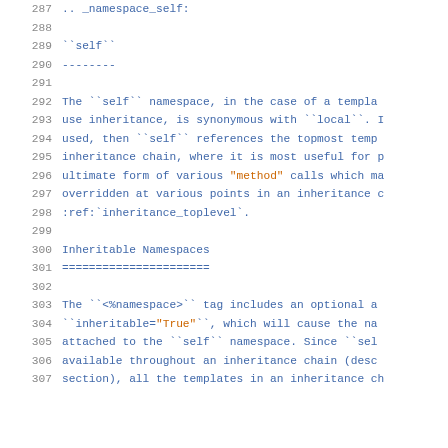287  .. _namespace_self:
288
289  ``self``
290  --------
291
292  The ``self`` namespace, in the case of a templa
293  use inheritance, is synonymous with ``local``. I
294  used, then ``self`` references the topmost temp
295  inheritance chain, where it is most useful for p
296  ultimate form of various "method" calls which ma
297  overridden at various points in an inheritance c
298  :ref:`inheritance_toplevel`.
299
300  Inheritable Namespaces
301  =====================
302
303  The ``<%namespace>`` tag includes an optional a
304  ``inheritable="True"``, which will cause the na
305  attached to the ``self`` namespace. Since ``sel
306  available throughout an inheritance chain (desc
307  section), all the templates in an inheritance ch